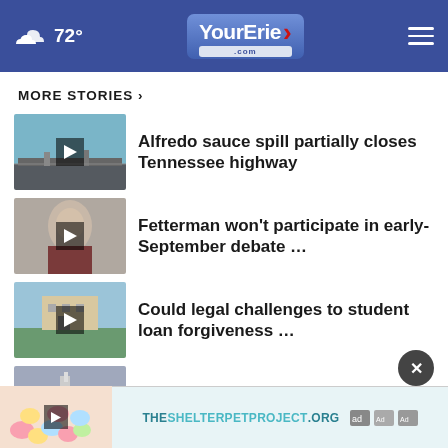72° YourErie.com
MORE STORIES ›
[Figure (photo): Aerial view of a highway with workers — video thumbnail for Alfredo sauce spill story]
Alfredo sauce spill partially closes Tennessee highway
[Figure (photo): Portrait photo of John Fetterman — video thumbnail]
Fetterman won't participate in early-September debate …
[Figure (photo): Photo of a campus building — video thumbnail for student loan story]
Could legal challenges to student loan forgiveness …
[Figure (photo): Photo of Artemis rocket on launch pad — video thumbnail]
Artemis I launch: NASA to make second attempt Saturday
[Figure (photo): Colorful egg-shaped items — partial thumbnail for fifth story]
THESHELTERPETPROJECT.ORG